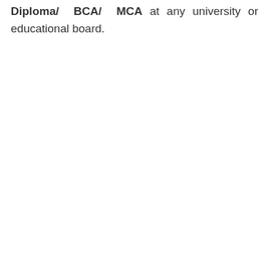Diploma/ BCA/ MCA at any university or educational board.